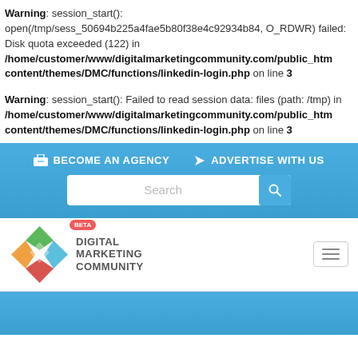Warning: session_start(): open(/tmp/sess_50694b225a4fae5b80f38e4c92934b84, O_RDWR) failed: Disk quota exceeded (122) in /home/customer/www/digitalmarketingcommunity.com/public_html/wp-content/themes/DMC/functions/linkedin-login.php on line 3
Warning: session_start(): Failed to read session data: files (path: /tmp) in /home/customer/www/digitalmarketingcommunity.com/public_html/wp-content/themes/DMC/functions/linkedin-login.php on line 3
BECOME AN AGENCY   ADVERTISE WITH US
[Figure (screenshot): Search bar with blue search button]
[Figure (logo): Digital Marketing Community logo with colorful cross/diamond icon, BETA badge, and hamburger menu button]